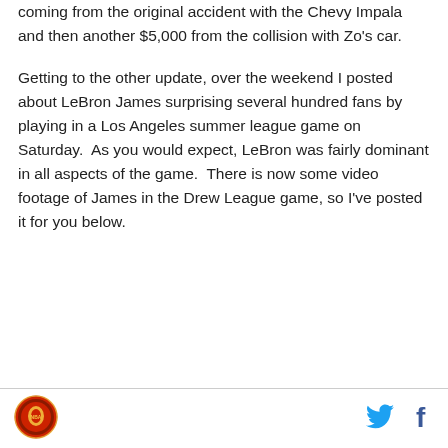coming from the original accident with the Chevy Impala and then another $5,000 from the collision with Zo's car.
Getting to the other update, over the weekend I posted about LeBron James surprising several hundred fans by playing in a Los Angeles summer league game on Saturday.  As you would expect, LeBron was fairly dominant in all aspects of the game.  There is now some video footage of James in the Drew League game, so I've posted it for you below.
[Figure (logo): Circular logo with red border and sports team emblem]